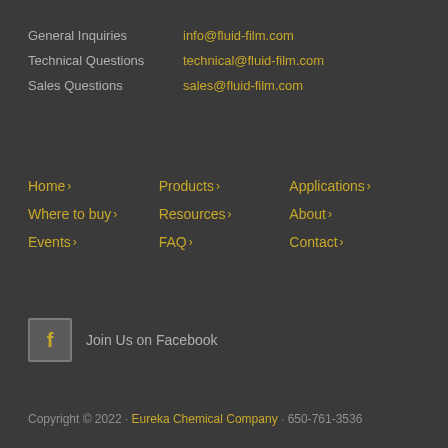General Inquiries  info@fluid-film.com
Technical Questions  technical@fluid-film.com
Sales Questions  sales@fluid-film.com
Home >
Products >
Applications >
Where to buy >
Resources >
About >
Events >
FAQ >
Contact >
Join Us on Facebook
Copyright © 2022 · Eureka Chemical Company · 650-761-3536